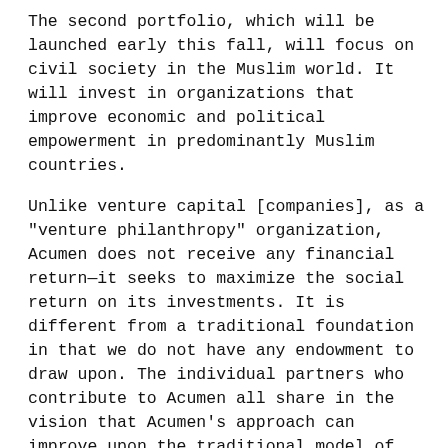The second portfolio, which will be launched early this fall, will focus on civil society in the Muslim world. It will invest in organizations that improve economic and political empowerment in predominantly Muslim countries.
Unlike venture capital [companies], as a "venture philanthropy" organization, Acumen does not receive any financial return—it seeks to maximize the social return on its investments. It is different from a traditional foundation in that we do not have any endowment to draw upon. The individual partners who contribute to Acumen all share in the vision that Acumen's approach can improve upon the traditional model of international philanthropy, thereby creating a greater social impact for each dollar contributed.
My specific role for the summer is to assist Acumen in developing and implementing a framework for...